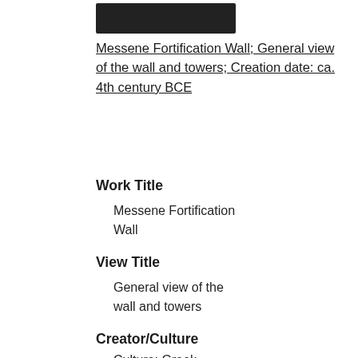[Figure (photo): Redacted/blacked out image thumbnail at the top]
Messene Fortification Wall; General view of the wall and towers; Creation date: ca. 4th century BCE
Work Title
Messene Fortification Wall
View Title
General view of the wall and towers
Creator/Culture
Culture: Greek
< Previous   Next >
Go to page: 1 of 5  Go